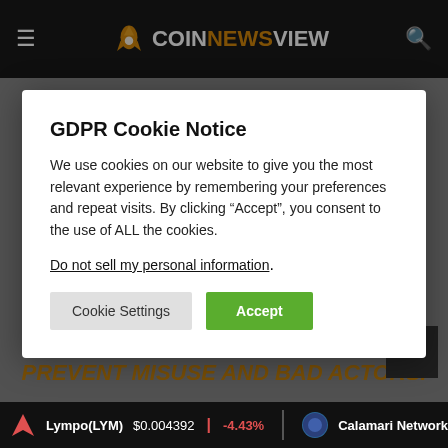COINNEWSVIEW
THE CARS WERE RUNNING ON THE ROAD
GDPR Cookie Notice
We use cookies on our website to give you the most relevant experience by remembering your preferences and repeat visits. By clicking “Accept”, you consent to the use of ALL the cookies.
Do not sell my personal information.
PREVENT MISUSE AND BAD ACTORS.
Lympo(LYM) $0.004392 | -4.43% | Calamari Network(KMA)